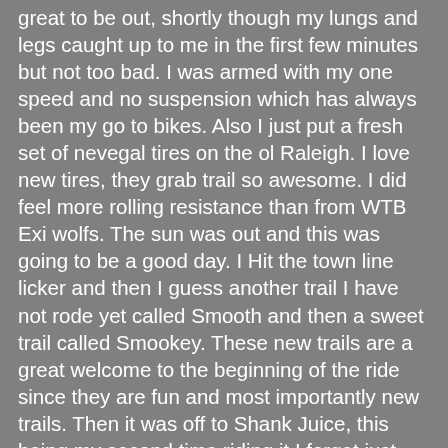great to be out, shortly though my lungs and legs caught up to me in the first few minutes but not too bad. I was armed with my one speed and no suspension which has always been my go to bikes. Also I just put a fresh set of nevegal tires on the ol Raleigh. I love new tires, they grab trail so awesome. I did feel more rolling resistance than from WTB Exi wolfs. The sun was out and this was going to be a good day. I Hit the town line licker and then I guess another trail I have not rode yet called Smooth and then a sweet trail called Smookey. These new trails are a great welcome to the beginning of the ride since they are fun and most importantly new trails. Then it was off to Shank Juice, this being my second time riding it I forget just how much work this trail is, by far it's the longest single connected trail I believe, about a 18 minute heck of a fun trail. After done with that I was feeling my legs giving out but not completely. Down Tinti trail where that good old euphoria ran into my veins. Ahhhhh thats the feeling I have missed. Rode down to the reservoir where I took a minute and soaked in that view and joy it was being out on the bicycle. Up Misty, up NUT, then an easy peezy ride back up to the lookout and then home free. I was pretty worn by the end of the ride but what do you expect